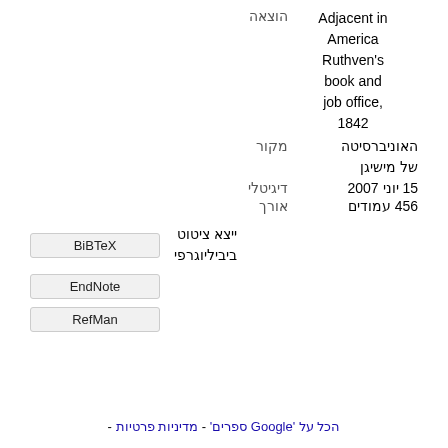| הוצאה | Adjacent in America Ruthven's book and job office, 1842 |
| מקור | האוניברסיטה של מישיגן |
| דיגיטלי | 15 יוני 2007 |
| אורך | 456 עמודים |
ייצא ציטוט ביביליוגרפי
BiBTeX
EndNote
RefMan
הכל על 'Google ספרים' - מדיניות פרטיות